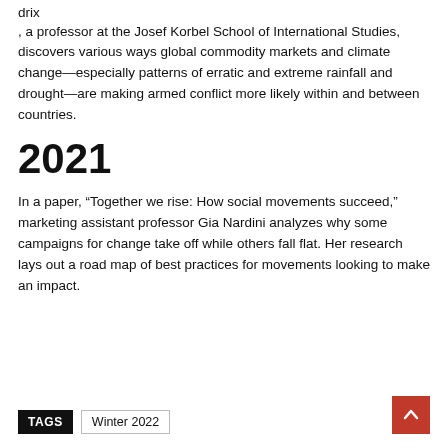drix
, a professor at the Josef Korbel School of International Studies, discovers various ways global commodity markets and climate change—especially patterns of erratic and extreme rainfall and drought—are making armed conflict more likely within and between countries.
2021
In a paper, “Together we rise: How social movements succeed,” marketing assistant professor Gia Nardini analyzes why some campaigns for change take off while others fall flat. Her research lays out a road map of best practices for movements looking to make an impact.
TAGS   Winter 2022